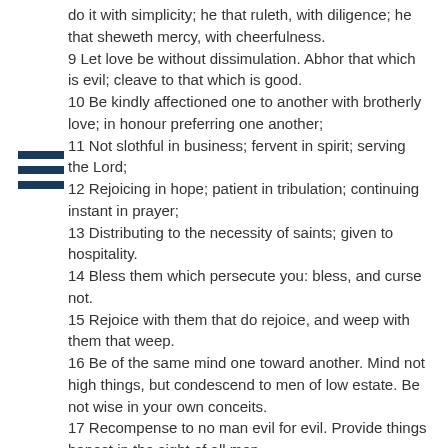do it with simplicity; he that ruleth, with diligence; he that sheweth mercy, with cheerfulness.
9 Let love be without dissimulation. Abhor that which is evil; cleave to that which is good.
10 Be kindly affectioned one to another with brotherly love; in honour preferring one another;
11 Not slothful in business; fervent in spirit; serving the Lord;
12 Rejoicing in hope; patient in tribulation; continuing instant in prayer;
13 Distributing to the necessity of saints; given to hospitality.
14 Bless them which persecute you: bless, and curse not.
15 Rejoice with them that do rejoice, and weep with them that weep.
16 Be of the same mind one toward another. Mind not high things, but condescend to men of low estate. Be not wise in your own conceits.
17 Recompense to no man evil for evil. Provide things honest in the sight of all men.
18 If it be possible, as much as lieth in you, live peaceably with all men.
19 Dearly beloved, avenge not yourselves, but rather give place unto wrath: for it is written, Vengeance is mine; I will